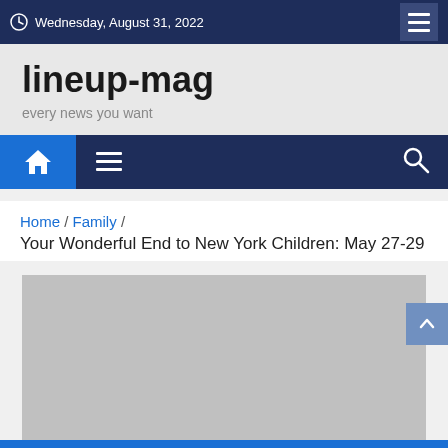Wednesday, August 31, 2022
lineup-mag
every news you want
Home / Family /
Your Wonderful End to New York Children: May 27-29
[Figure (photo): Gray image placeholder for article photo]